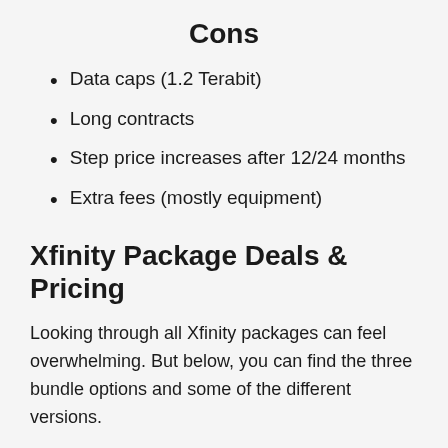Cons
Data caps (1.2 Terabit)
Long contracts
Step price increases after 12/24 months
Extra fees (mostly equipment)
Xfinity Package Deals & Pricing
Looking through all Xfinity packages can feel overwhelming. But below, you can find the three bundle options and some of the different versions.
Xfinity Double Play: Internet & TV